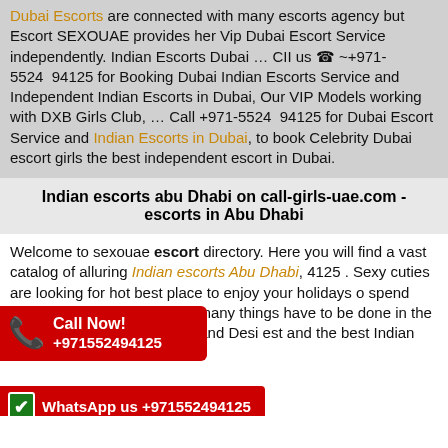Dubai Escorts are connected with many escorts agency but Escort SEXOUAE provides her Vip Dubai Escort Service independently. Indian Escorts Dubai … CII us ☎ ~+971-5524 94125 for Booking Dubai Indian Escorts Service and Independent Indian Escorts in Dubai, Our VIP Models working with DXB Girls Club, … Call +971-5524 94125 for Dubai Escort Service and Indian Escorts in Dubai, to book Celebrity Dubai escort girls the best independent escort in Dubai.
Indian escorts abu Dhabi on call-girls-uae.com - escorts in Abu Dhabi
Welcome to sexouae escort directory. Here you will find a vast catalog of alluring Indian escorts Abu Dhabi, 4125 . Sexy cuties are looking for hot best place to enjoy your holidays o spend time there. In fact, there are many things have to be done in the city which gives … of Indian and Desi est and the best Indian
[Figure (infographic): Red Call Now banner with phone icon and number +971552494125]
[Figure (infographic): Red WhatsApp us banner with WhatsApp icon and number +971552494125]